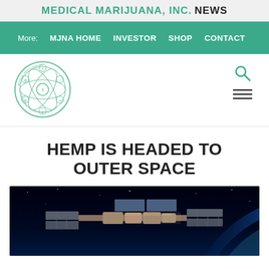MEDICAL MARIJUANA, INC. NEWS
More: MJNA HOME   INVESTOR   SHOP   CONTACT
[Figure (logo): Medical Marijuana Inc. circular logo with green botanical and medical icons]
HEMP IS HEADED TO OUTER SPACE
[Figure (photo): Photo of the International Space Station in orbit above Earth with blue atmosphere visible]